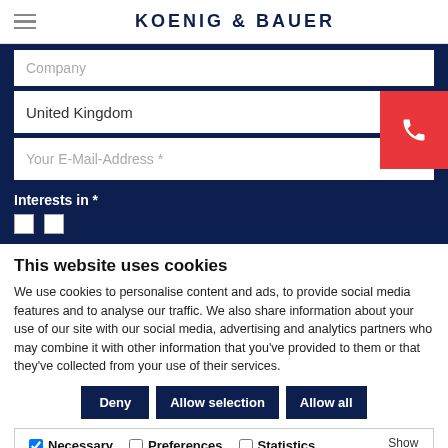KOENIG & BAUER
Company
United Kingdom
Your E-Mail-Address *
Interests in *
This website uses cookies
We use cookies to personalise content and ads, to provide social media features and to analyse our traffic. We also share information about your use of our site with our social media, advertising and analytics partners who may combine it with other information that you've provided to them or that they've collected from your use of their services.
Deny | Allow selection | Allow all
Necessary  Preferences  Statistics  Marketing  Show details